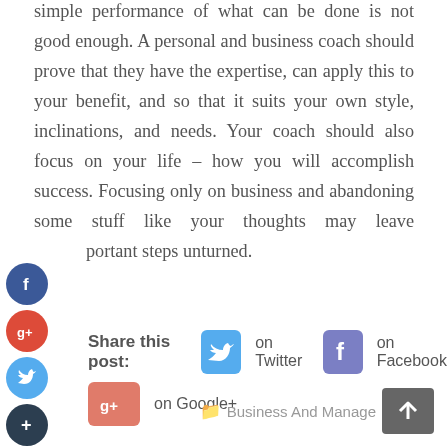simple performance of what can be done is not good enough. A personal and business coach should prove that they have the expertise, can apply this to your benefit, and so that it suits your own style, inclinations, and needs. Your coach should also focus on your life – how you will accomplish success. Focusing only on business and abandoning some stuff like your thoughts may leave important steps unturned.
Share this post: on Twitter  on Facebook  on Google+
Business And Management